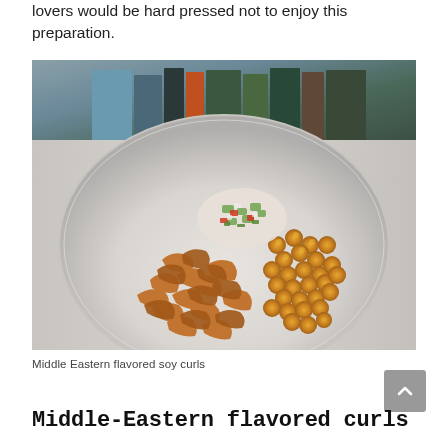lovers would be hard pressed not to enjoy this preparation.
[Figure (photo): A white plate piled with Middle Eastern flavored soy curls and chickpeas, topped with a fresh chopped salad of cucumber, tomato, and herbs. Books are visible in the blurred background.]
Middle Eastern flavored soy curls
Middle-Eastern flavored curls